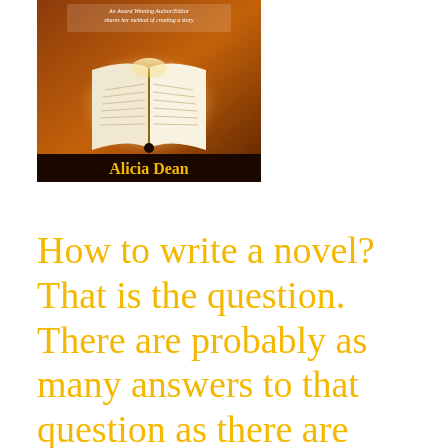[Figure (illustration): Book cover image showing an open book with light emanating from it against an orange/brown background. Text reads 'An Award Winning Author/Editor shares her method of creating a story' at top and 'Alicia Dean' at bottom in yellow text.]
How to write a novel? That is the question. There are probably as many answers to that question as there are people who ask it.
Wanting to write and actually doing it are two very different things. I am well acquainted with the sometimes grueling process of churning out a story. Over